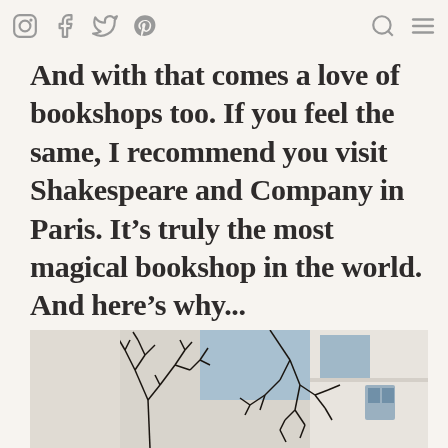Social icons: Instagram, Facebook, Twitter, Pinterest. Navigation icons: Search, Menu.
And with that comes a love of bookshops too. If you feel the same, I recommend you visit Shakespeare and Company in Paris. It’s truly the most magical bookshop in the world. And here’s why...
[Figure (photo): Exterior photo of a building with bare winter tree branches in the foreground, blue sky and white building facade visible, likely Shakespeare and Company bookshop in Paris.]